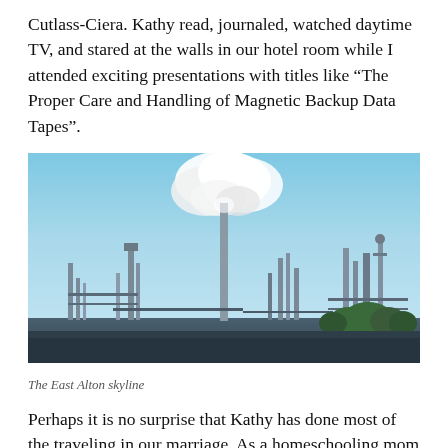Cutlass-Ciera. Kathy read, journaled, watched daytime TV, and stared at the walls in our hotel room while I attended exciting presentations with titles like “The Proper Care and Handling of Magnetic Backup Data Tapes”.
[Figure (photo): Industrial refinery or chemical plant with tall smokestacks, one emitting a large white smoke plume against a blue sky, with green trees visible in the foreground right.]
The East Alton skyline
Perhaps it is no surprise that Kathy has done most of the traveling in our marriage. As a homeschooling mom of five